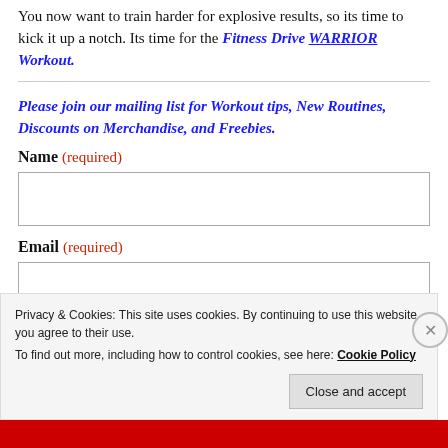You now want to train harder for explosive results, so its time to kick it up a notch. Its time for the Fitness Drive WARRIOR Workout.
Please join our mailing list for Workout tips, New Routines, Discounts on Merchandise, and Freebies.
Name (required)
Email (required)
Privacy & Cookies: This site uses cookies. By continuing to use this website, you agree to their use. To find out more, including how to control cookies, see here: Cookie Policy